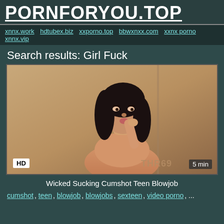PORNFORYOU.TOP
xnnx.work hdtubex.biz xxporno.top bbwxnxx.com xxnx porno xnnx.vip
Search results: Girl Fuck
[Figure (photo): Video thumbnail showing a dark-haired woman, with HD badge bottom-left, THR69 watermark bottom-center-right, and 5 min duration badge bottom-right]
Wicked Sucking Cumshot Teen Blowjob
cumshot, teen, blowjob, blowjobs, sexteen, video porno, ...